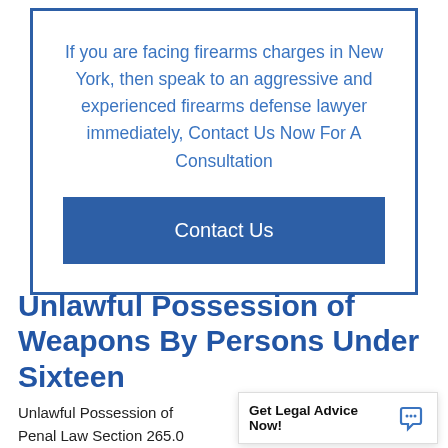If you are facing firearms charges in New York, then speak to an aggressive and experienced firearms defense lawyer immediately, Contact Us Now For A Consultation
Contact Us
Unlawful Possession of Weapons By Persons Under Sixteen
Unlawful Possession of Penal Law Section 265.0